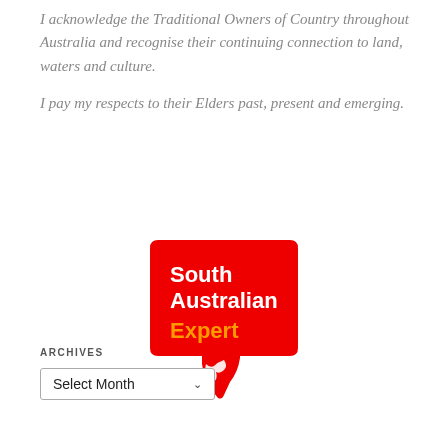I acknowledge the Traditional Owners of Country throughout Australia and recognise their continuing connection to land, waters and culture.
I pay my respects to their Elders past, present and emerging.
[Figure (logo): South Australian Expert logo — red speech bubble shape with white text 'South Australian' and orange text 'Expert', with a white silhouette of a bird at the bottom]
ARCHIVES
Select Month